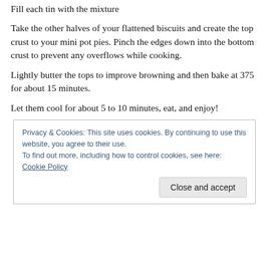Fill each tin with the mixture
Take the other halves of your flattened biscuits and create the top crust to your mini pot pies. Pinch the edges down into the bottom crust to prevent any overflows while cooking.
Lightly butter the tops to improve browning and then bake at 375 for about 15 minutes.
Let them cool for about 5 to 10 minutes, eat, and enjoy!
Privacy & Cookies: This site uses cookies. By continuing to use this website, you agree to their use.
To find out more, including how to control cookies, see here: Cookie Policy
Close and accept